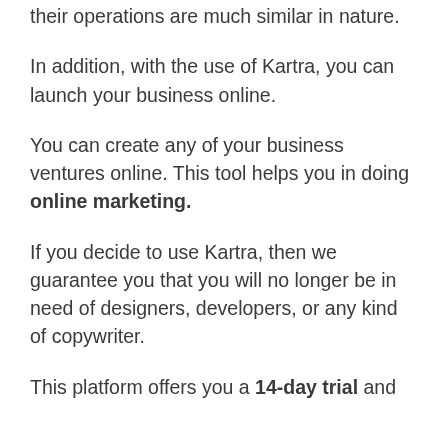their operations are much similar in nature.
In addition, with the use of Kartra, you can launch your business online.
You can create any of your business ventures online. This tool helps you in doing online marketing.
If you decide to use Kartra, then we guarantee you that you will no longer be in need of designers, developers, or any kind of copywriter.
This platform offers you a 14-day trial and